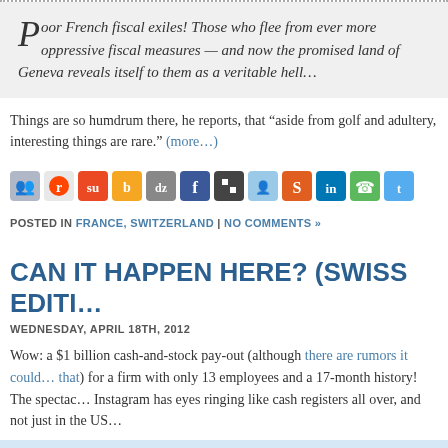Poor French fiscal exiles! Those who flee from ever more oppressive fis... now the promised land of Geneva reveals itself to them as a veritable hell...
Things are so humdrum there, he reports, that "aside from golf and adultery, rare." (more…)
[Figure (infographic): Row of social sharing icons: users, reddit, stumbleupon, buzz, digg, facebook, delicious, myspace, squidoo, linkedin, phone, twitter]
POSTED IN FRANCE, SWITZERLAND | NO COMMENTS »
CAN IT HAPPEN HERE? (SWISS EDITI...
WEDNESDAY, APRIL 18TH, 2012
Wow: a $1 billion cash-and-stock pay-out (although there are rumors it could... that) for a firm with only 13 employees and a 17-month history! The spectac... Instagram has eyes ringing like cash registers all over, and not just in the US
Start-ups: Gründen per Mausklick – ein kurzer Verg... von CH, D, USA und GB: http://t.co/SpTvVPyB